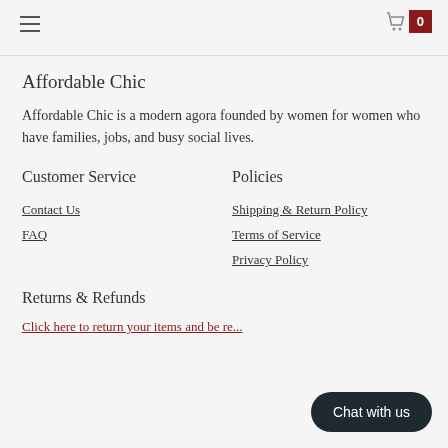≡  [cart icon] 0
Affordable Chic
Affordable Chic is a modern agora founded by women for women who have families, jobs, and busy social lives.
Customer Service
Contact Us
FAQ
Policies
Shipping & Return Policy
Terms of Service
Privacy Policy
Returns & Refunds
Click here to return your items and be re...